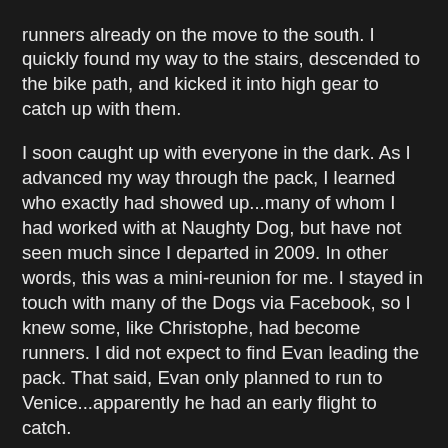runners already on the move to the south. I quickly found my way to the stairs, descended to the bike path, and kicked it into high gear to catch up with them.

I soon caught up with everyone in the dark. As I advanced my way through the pack, I learned who exactly had showed up...many of whom I had worked with at Naughty Dog, but have not seen much since I departed in 2009. In other words, this was a mini-reunion for me. I stayed in touch with many of the Dogs via Facebook, so I knew some, like Christophe, had become runners. I did not expect to find Evan leading the pack. That said, Evan only planned to run to Venice...apparently he had an early flight to catch.

For the most part, our course would stick to the bike path, traveling as far south as Venice before turning back on itself. It would then go a few miles north of the Santa Monica Pier before turning back. We would repeat this nine mile out-and-back three times...giving non- or less frequent runners numerous stopping opportunities and making it possible for some to join or re-join the group throughout the morning. Whenever we passed by the Santa Monica Pier parking lot,